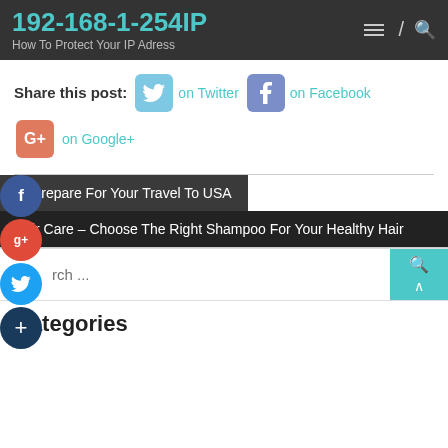192-168-1-254IP
How To Protect Your IP Adress
Share this post:  on Twitter  on Facebook  on Google+
← Prepare For Your Travel To USA
Hair Care – Choose The Right Shampoo For Your Healthy Hair
rch ...
Categories